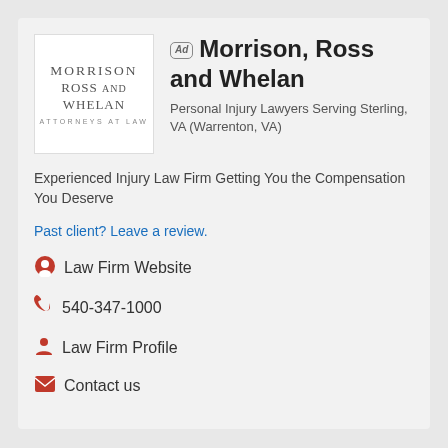[Figure (logo): Morrison Ross and Whelan Attorneys at Law logo]
Morrison, Ross and Whelan
Personal Injury Lawyers Serving Sterling, VA (Warrenton, VA)
Experienced Injury Law Firm Getting You the Compensation You Deserve
Past client? Leave a review.
Law Firm Website
540-347-1000
Law Firm Profile
Contact us
[Figure (logo): The Law Firm of Ruiz logo placeholder]
The Law Firm of Ruiz